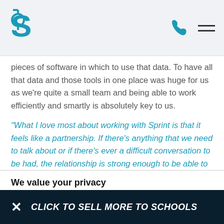[Sprint logo, phone icon, hamburger menu]
pieces of software in which to use that data. To have all that data and those tools in one place was huge for us as we're quite a small team and being able to work efficiently and smartly is absolutely key to us.
“What I love most about working with Sprint is that it feels like a partnership. If there’s anything that we need to talk about or if there’s ever a difficult conversation to be had, the relationship is strong enough to be able to do that and that’s what makes the whole thing more successful.”
We value your privacy
This website uses cookies to improve user experience. By using our website you consent to all cookies in accordance
CLICK TO SELL MORE TO SCHOOLS